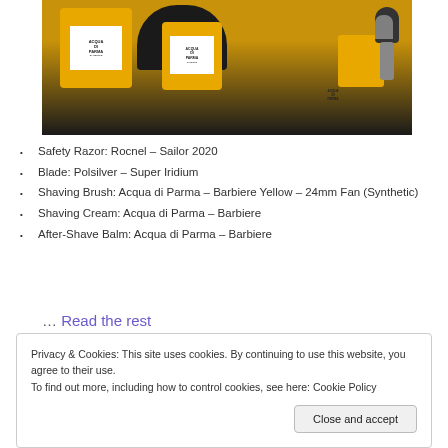[Figure (photo): Acqua di Parma Barbiere product lineup — yellow shaving cream jars, a black shaving brush, and a silver razor handle arranged on a dark surface.]
Safety Razor: Rocnel – Sailor 2020
Blade: Polsilver – Super Iridium
Shaving Brush: Acqua di Parma – Barbiere Yellow – 24mm Fan (Synthetic)
Shaving Cream: Acqua di Parma – Barbiere
After-Shave Balm: Acqua di Parma – Barbiere
… Read the rest
Privacy & Cookies: This site uses cookies. By continuing to use this website, you agree to their use.
To find out more, including how to control cookies, see here: Cookie Policy